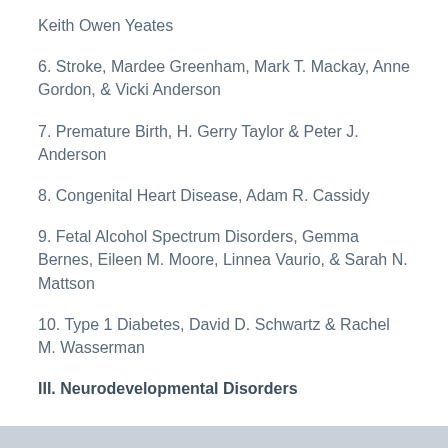Keith Owen Yeates
6. Stroke, Mardee Greenham, Mark T. Mackay, Anne Gordon, & Vicki Anderson
7. Premature Birth, H. Gerry Taylor & Peter J. Anderson
8. Congenital Heart Disease, Adam R. Cassidy
9. Fetal Alcohol Spectrum Disorders, Gemma Bernes, Eileen M. Moore, Linnea Vaurio, & Sarah N. Mattson
10. Type 1 Diabetes, David D. Schwartz & Rachel M. Wasserman
III. Neurodevelopmental Disorders